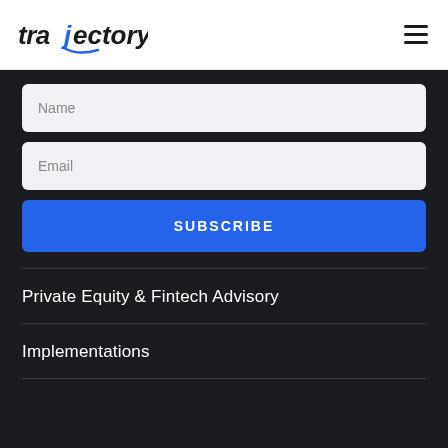trajectory [logo] | hamburger menu
Name
Email
SUBSCRIBE
Private Equity & Fintech Advisory
Implementations